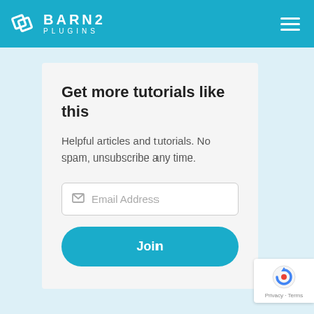BARN2 PLUGINS
Get more tutorials like this
Helpful articles and tutorials. No spam, unsubscribe any time.
Email Address
Join
[Figure (logo): reCAPTCHA badge with privacy and terms text]